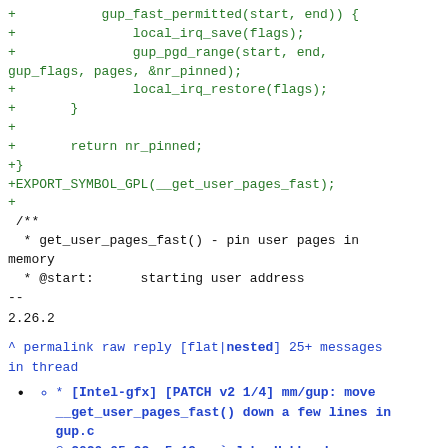+           gup_fast_permitted(start, end)) {
+               local_irq_save(flags);
+               gup_pgd_range(start, end,
gup_flags, pages, &nr_pinned);
+               local_irq_restore(flags);
+       }
+
+       return nr_pinned;
+}
+EXPORT_SYMBOL_GPL(__get_user_pages_fast);
+
 /**
  * get_user_pages_fast() - pin user pages in
memory
  * @start:      starting user address
--
2.26.2
^ permalink raw reply   [flat|nested] 25+ messages in thread
* [Intel-gfx] [PATCH v2 1/4] mm/gup: move __get_user_pages_fast() down a few lines in gup.c
@ 2020-05-22  5:19  ` John Hubbard
  0 siblings, 0 replies; 25+ messages in thread
From: John Hubbard @ 2020-05-22  5:19 UTC